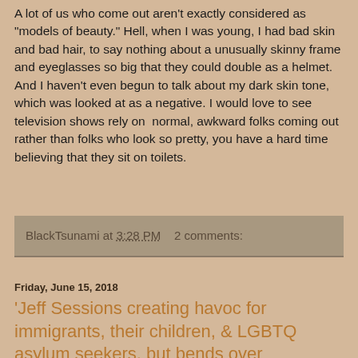A lot of us who come out aren't exactly considered as "models of beauty." Hell, when I was young, I had bad skin and bad hair, to say nothing about a unusually skinny frame and eyeglasses so big that they could double as a helmet. And I haven't even begun to talk about my dark skin tone, which was looked at as a negative. I would love to see television shows rely on  normal, awkward folks coming out rather than folks who look so pretty, you have a hard time believing that they sit on toilets.
BlackTsunami at 3:28 PM   2 comments:
Friday, June 15, 2018
'Jeff Sessions creating havoc for immigrants, their children, & LGBTQ asylum seekers, but bends over backwards for 'religious liberty" & other Friday midday news briefs